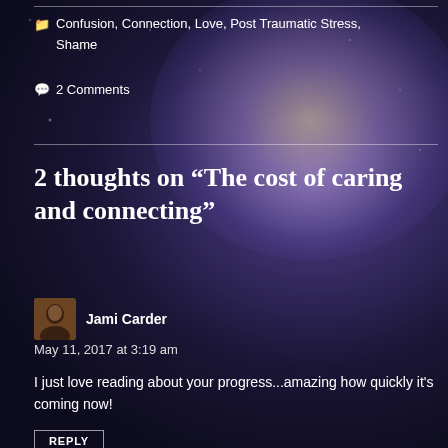[Figure (illustration): Dark night sky background with purple/blue nebula and stars, silhouette of a person sitting and looking up]
Confusion, Connection, Love, Post Traumatic Stress, Shame
2 Comments
2 thoughts on “The cost of caring and connecting”
Jami Carder
May 11, 2017 at 3:19 am
I just love reading about your progress...amazing how quickly it's coming now!
REPLY